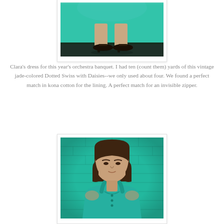[Figure (photo): Close-up photo of a woman's feet and lower legs wearing high-heeled strappy sandals, with a teal/jade-colored dress visible at the top of the frame. The background is a teal-painted wall/floor.]
Clara's dress for this year's orchestra banquet. I had ten (count them) yards of this vintage jade-colored Dotted Swiss with Daisies--we only used about four. We found a perfect match in kona cotton for the lining. A perfect match for an invisible zipper.
[Figure (photo): Portrait photo of a young woman with straight brown hair with bangs, wearing a teal/jade-colored sundress with spaghetti straps and small button details. She is standing against a teal brick wall background.]